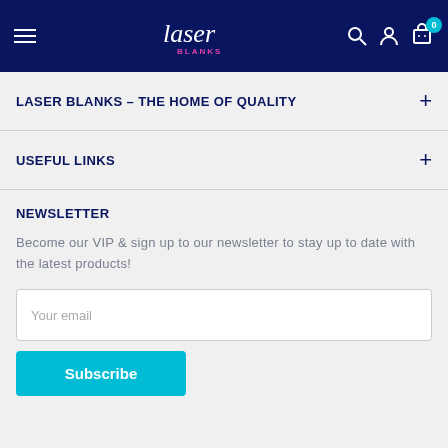[Figure (screenshot): Navigation bar with hamburger menu, Laser Blanks logo, search icon, account icon, and cart icon with badge showing 0]
LASER BLANKS – THE HOME OF QUALITY
USEFUL LINKS
NEWSLETTER
Become our VIP & sign up to our newsletter to stay up to date with the latest products!